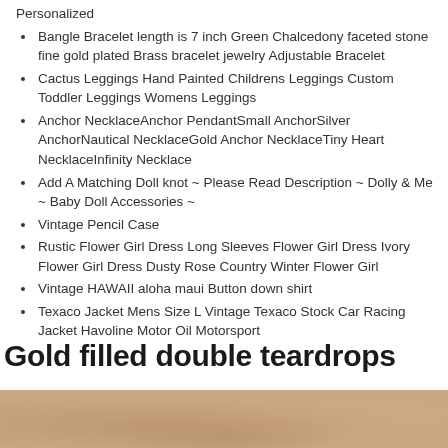Personalized
Bangle Bracelet length is 7 inch Green Chalcedony faceted stone fine gold plated Brass bracelet jewelry Adjustable Bracelet
Cactus Leggings Hand Painted Childrens Leggings Custom Toddler Leggings Womens Leggings
Anchor NecklaceAnchor PendantSmall AnchorSilver AnchorNautical NecklaceGold Anchor NecklaceTiny Heart NecklaceInfinity Necklace
Add A Matching Doll knot ~ Please Read Description ~ Dolly & Me ~ Baby Doll Accessories ~
Vintage Pencil Case
Rustic Flower Girl Dress Long Sleeves Flower Girl Dress Ivory Flower Girl Dress Dusty Rose Country Winter Flower Girl
Vintage HAWAII aloha maui Button down shirt
Texaco Jacket Mens Size L Vintage Texaco Stock Car Racing Jacket Havoline Motor Oil Motorsport
Gold filled double teardrops
[Figure (photo): Brown textured surface, possibly wood or leather material]